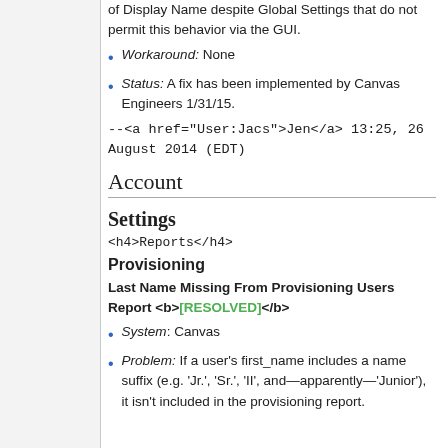of Display Name despite Global Settings that do not permit this behavior via the GUI.
Workaround: None
Status: A fix has been implemented by Canvas Engineers 1/31/15.
--<a href="User:Jacs">Jen</a> 13:25, 26 August 2014 (EDT)
Account
Settings
<h4>Reports</h4>
Provisioning
Last Name Missing From Provisioning Users Report <b>[RESOLVED]</b>
System: Canvas
Problem: If a user's first_name includes a name suffix (e.g. 'Jr.', 'Sr.', 'II', and—apparently—'Junior'), it isn't included in the provisioning report.